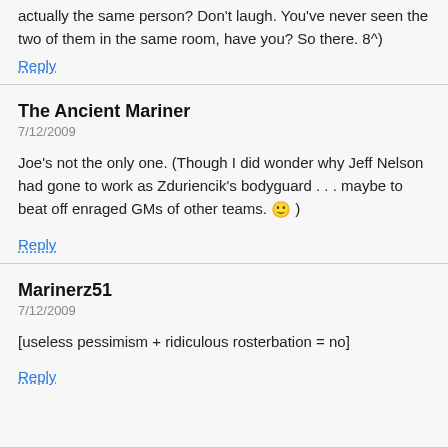actually the same person? Don't laugh. You've never seen the two of them in the same room, have you? So there. 8^)
Reply
The Ancient Mariner
7/12/2009
Joe's not the only one. (Though I did wonder why Jeff Nelson had gone to work as Zduriencik's bodyguard . . . maybe to beat off enraged GMs of other teams. 🙂 )
Reply
Marinerz51
7/12/2009
[useless pessimism + ridiculous rosterbation = no]
Reply